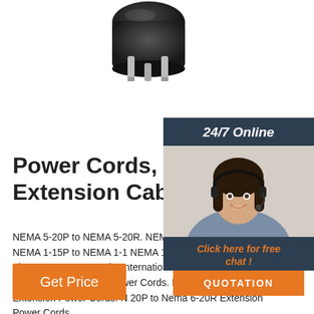[Figure (photo): Black electrical plug viewed from above showing three flat prongs, on white background]
[Figure (photo): Customer service agent woman with headset smiling, with 24/7 Online badge and chat interface overlay including 'Click here for free chat!' and QUOTATION button]
Power Cords, Extension Cables
NEMA 5-20P to NEMA 5-20R. NEMA L5-20P to NEMA L5-20R. NEMA 1-15P to NEMA 1-15R. NEMA 1-15P To NEMA 1-15TT. Flat Extension Power Cords. International Extension Cords. 220V/240V Extension Power Cords. Nema 6-15P to Nema 6-15R Extension Power Cords. Nema 6-20P to Nema 6-20R Extension Power Cords.
Get Price